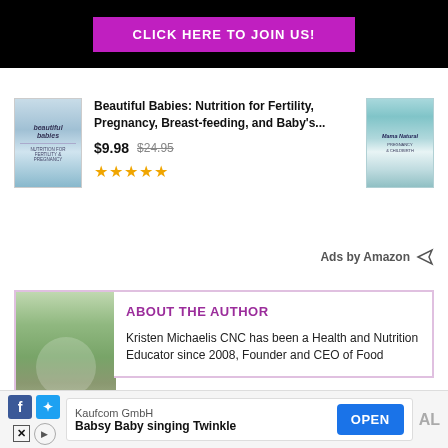[Figure (screenshot): Black banner with purple 'CLICK HERE TO JOIN US!' button]
[Figure (screenshot): Amazon ads section showing book 'Beautiful Babies: Nutrition for Fertility, Pregnancy, Breast-feeding, and Baby's...' priced at $9.98 (was $24.95) with 4.5 stars, flanked by two book cover images]
Beautiful Babies: Nutrition for Fertility, Pregnancy, Breast-feeding, and Baby's...
$9.98  $24.95
Ads by Amazon
ABOUT THE AUTHOR
Kristen Michaelis CNC has been a Health and Nutrition Educator since 2008, Founder and CEO of Food